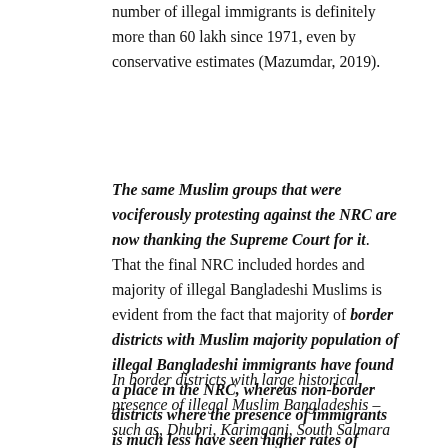number of illegal immigrants is definitely more than 60 lakh since 1971, even by conservative estimates (Mazumdar, 2019).
The same Muslim groups that were vociferously protesting against the NRC are now thanking the Supreme Court for it. That the final NRC included hordes and majority of illegal Bangladeshi Muslims is evident from the fact that majority of border districts with Muslim majority population of illegal Bangladeshi immigrants have found a place in the NRC, whereas non-border districts where the presence of immigrants is much less have seen higher rates of exclusion.
In border districts with large historical presence of illegal Muslim Bangladeshis – such as, Dhubri, Karimganj, South Salmara and Hailakandi – the inclusion rate in NRC is above 90%. But in indigenous